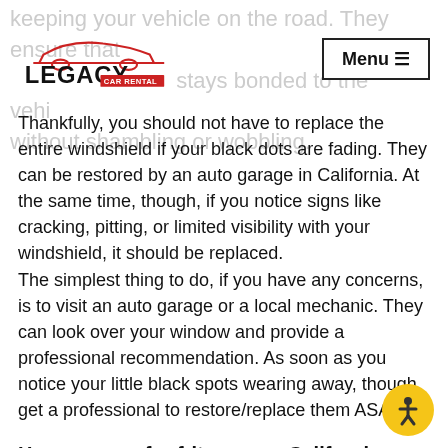keeping your vehicle on the road. They ensure that [logo] stays bonded to the vehicle [Menu] without shambling or wobbling.
[Figure (logo): Legacy Car Rental logo with red car silhouette outline and text LEGACY CAR RENTAL]
Thankfully, you should not have to replace the entire windshield if your black dots are fading. They can be restored by an auto garage in California. At the same time, though, if you notice signs like cracking, pitting, or limited visibility with your windshield, it should be replaced.
The simplest thing to do, if you have any concerns, is to visit an auto garage or a local mechanic. They can look over your window and provide a professional recommendation. As soon as you notice your little black spots wearing away, though, get a professional to restore/replace them ASAP.
How we care for frits on our California car rentals
At Legacy Car Rental, we take inspiration from...